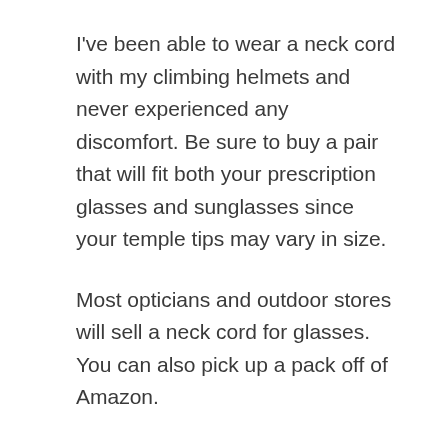I've been able to wear a neck cord with my climbing helmets and never experienced any discomfort. Be sure to buy a pair that will fit both your prescription glasses and sunglasses since your temple tips may vary in size.
Most opticians and outdoor stores will sell a neck cord for glasses. You can also pick up a pack off of Amazon.
Tighten your frames
If you're noticing your frames slipping and sliding when you're just sitting on your